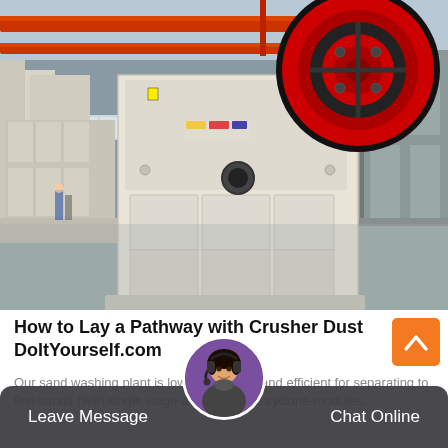[Figure (photo): Industrial factory interior showing a large jaw crusher machine. The crusher is white/cream colored with a prominent black and red flywheel on top right. The factory has red overhead cranes and a polished concrete floor. Multiple crusher units are visible in a row.]
How to Lay a Pathway with Crusher Dust DoItYourself.com
Our sand washing plant is low cost, robust and efficient for separating to fine sands (with single stage and two stage cyclone modules...